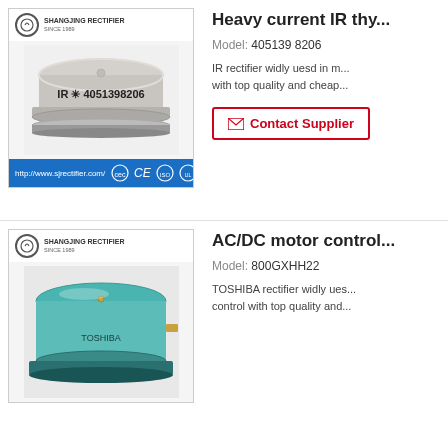[Figure (photo): Shangjing Rectifier product image - IR thyristor model 405139 8206, silver metallic puck-shaped component with text 'IR * 4051398206' on the side. Logo bar with Shangjing Rectifier branding and blue footer with website and certification badges.]
Heavy current IR thy...
Model: 405139 8206
IR rectifier widly uesd in m... with top quality and cheap...
Contact Supplier
[Figure (photo): Shangjing Rectifier product image - TOSHIBA thyristor model 800GXHH22, large teal/turquoise colored puck-shaped component. Logo bar with Shangjing Rectifier branding.]
AC/DC motor control...
Model: 800GXHH22
TOSHIBA rectifier widly ues... control with top quality and...